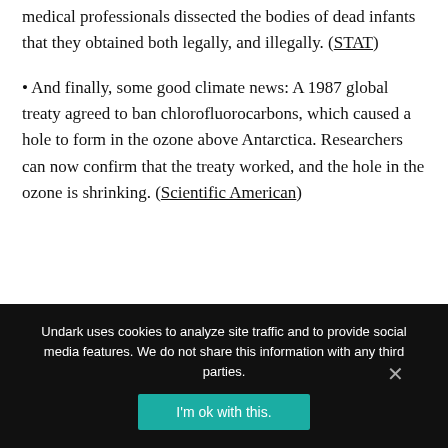medical professionals dissected the bodies of dead infants that they obtained both legally, and illegally. (STAT)
• And finally, some good climate news: A 1987 global treaty agreed to ban chlorofluorocarbons, which caused a hole to form in the ozone above Antarctica. Researchers can now confirm that the treaty worked, and the hole in the ozone is shrinking. (Scientific American)
Undark uses cookies to analyze site traffic and to provide social media features. We do not share this information with any third parties.